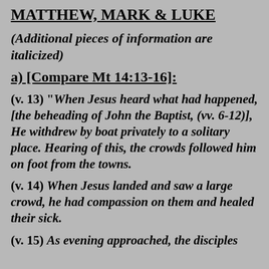MATTHEW, MARK & LUKE
(Additional pieces of information are italicized)
a) [Compare Mt 14:13-16]:
(v. 13) "When Jesus heard what had happened, [the beheading of John the Baptist, (vv. 6-12)], He withdrew by boat privately to a solitary place. Hearing of this, the crowds followed him on foot from the towns.
(v. 14) When Jesus landed and saw a large crowd, he had compassion on them and healed their sick.
(v. 15) As evening approached, the disciples